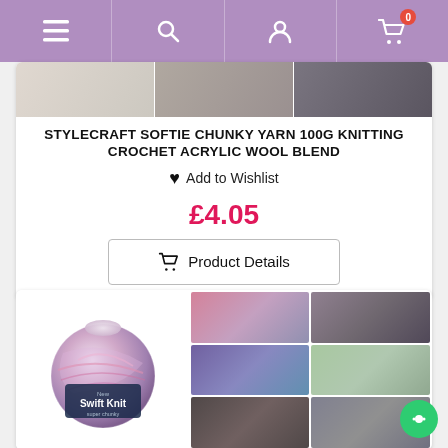Navigation bar with menu, search, account, and cart (0 items) icons
[Figure (photo): Three close-up photos of chunky yarn in beige, grey, and dark grey tones]
STYLECRAFT SOFTIE CHUNKY YARN 100G KNITTING CROCHET ACRYLIC WOOL BLEND
♥ Add to Wishlist
£4.05
🛒 Product Details
[Figure (photo): Ball of Swift Knit super chunky yarn in purple/pink/white mix (Stylecraft), with a 2x3 grid of yarn close-up photos in pink/purple, grey, blue/purple, green, dark, and grey tones]